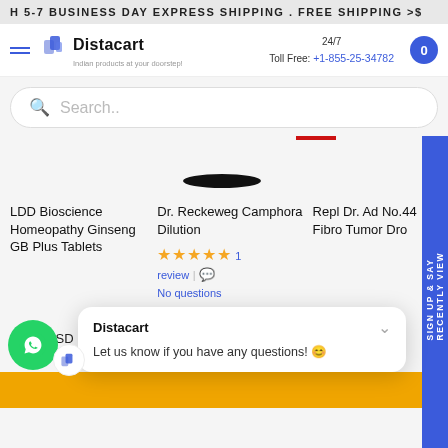H 5-7 BUSINESS DAY EXPRESS SHIPPING . FREE SHIPPING >$
[Figure (screenshot): Distacart website header with logo, 24/7 toll free number +1-855-25-34782, and cart button]
Search..
LDD Bioscience Homeopathy Ginseng GB Plus Tablets
Dr. Reckeweg Camphora Dilution
Repl Dr. Ad No.44 Fibro Tumor Dro
★★★★★ 1 review | No questions
$6.30 USD
$6.97 USD
$8.51 USD
Distacart
Let us know if you have any questions! 😊